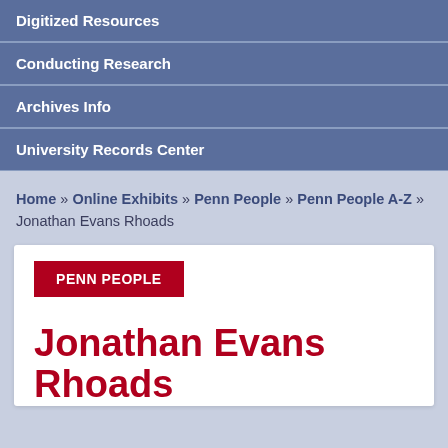Digitized Resources
Conducting Research
Archives Info
University Records Center
Home » Online Exhibits » Penn People » Penn People A-Z » Jonathan Evans Rhoads
PENN PEOPLE
Jonathan Evans Rhoads